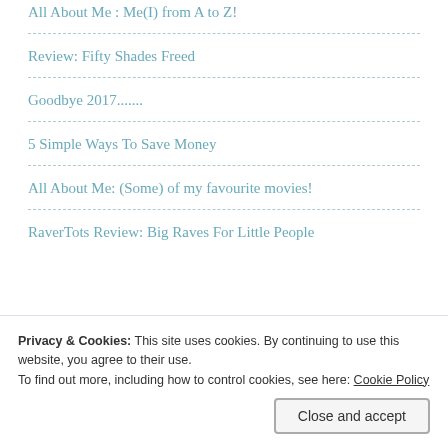All About Me : Me(I) from A to Z!
Review: Fifty Shades Freed
Goodbye 2017.......
5 Simple Ways To Save Money
All About Me: (Some) of my favourite movies!
RaverTots Review: Big Raves For Little People
SEARCH
Privacy & Cookies: This site uses cookies. By continuing to use this website, you agree to their use.
To find out more, including how to control cookies, see here: Cookie Policy
Close and accept